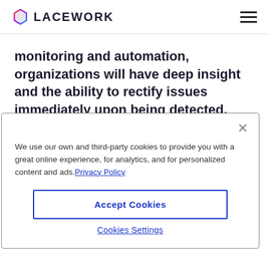LACEWORK
monitoring and automation, organizations will have deep insight and the ability to rectify issues immediately upon being detected.
We use our own and third-party cookies to provide you with a great online experience, for analytics, and for personalized content and ads. Privacy Policy
Accept Cookies
Cookies Settings